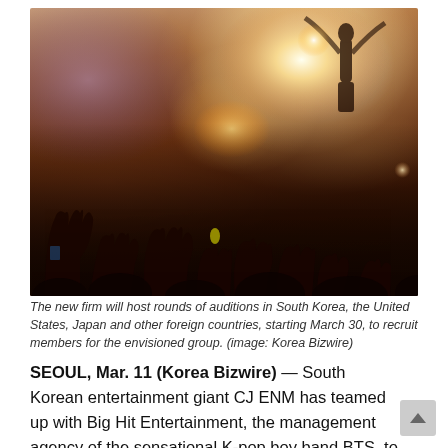[Figure (photo): Concert crowd with hands raised toward a bright stage light, performer visible in background with arms raised, warm orange and white tones]
The new firm will host rounds of auditions in South Korea, the United States, Japan and other foreign countries, starting March 30, to recruit members for the envisioned group. (image: Korea Bizwire)
SEOUL, Mar. 11 (Korea Bizwire) — South Korean entertainment giant CJ ENM has teamed up with Big Hit Entertainment, the management agency of the sensational K-pop boy band BTS, to launch an idol band on the global music scene, according to CJ on Monday.